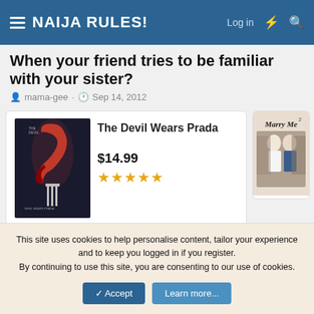NAIJA RULES!  Log in
When your friend tries to be familiar with your sister?
mama-gee · Sep 14, 2012
[Figure (screenshot): Amazon ad showing 'The Devil Wears Prada' book at $14.99 with 5-star rating, and a side ad showing 'Marry Me' movie. 'Ads by Amazon' label below.]
Not open for further replies.
This site uses cookies to help personalise content, tailor your experience and to keep you logged in if you register.
By continuing to use this site, you are consenting to our use of cookies.